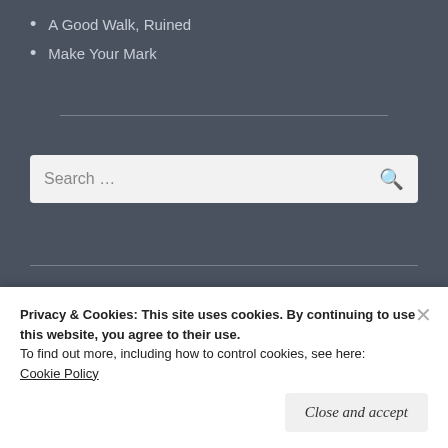A Good Walk, Ruined
Make Your Mark
Search ...
ARCHIVES
Privacy & Cookies: This site uses cookies. By continuing to use this website, you agree to their use.
To find out more, including how to control cookies, see here: Cookie Policy
Close and accept